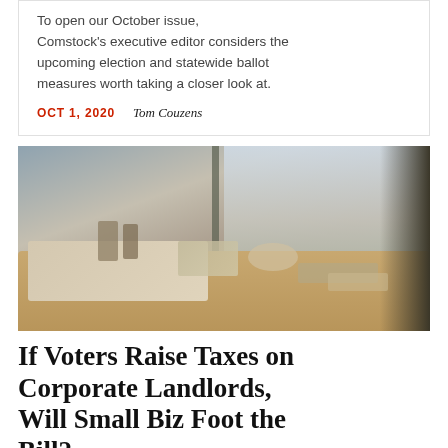To open our October issue, Comstock's executive editor considers the upcoming election and statewide ballot measures worth taking a closer look at.
OCT 1, 2020   Tom Couzens
[Figure (photo): A shop window view showing merchandise on a wooden table in the foreground (ceramics, small items, containers), with a street scene reflected in the glass — a cyclist, parked vehicles, and buildings visible through and in the reflection.]
If Voters Raise Taxes on Corporate Landlords, Will Small Biz Foot the Bill?